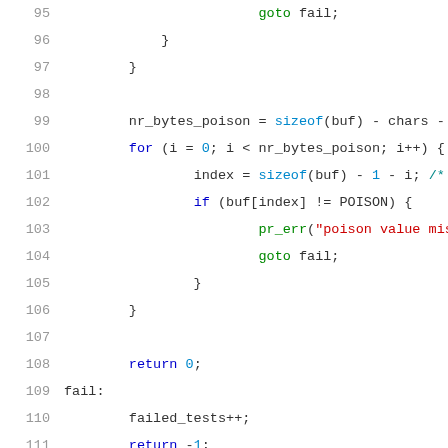[Figure (screenshot): Source code listing showing C code with line numbers 95-116, with syntax highlighting. Lines show a loop checking poison values, error handling with goto, return statements, a fail label, and the beginning of a selftest function.]